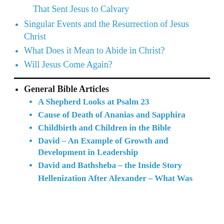That Sent Jesus to Calvary
Singular Events and the Resurrection of Jesus Christ
What Does it Mean to Abide in Christ?
Will Jesus Come Again?
General Bible Articles
A Shepherd Looks at Psalm 23
Cause of Death of Ananias and Sapphira
Childbirth and Children in the Bible
David – An Example of Growth and Development in Leadership
David and Bathsheba – the Inside Story
Hellenization After Alexander – What Was